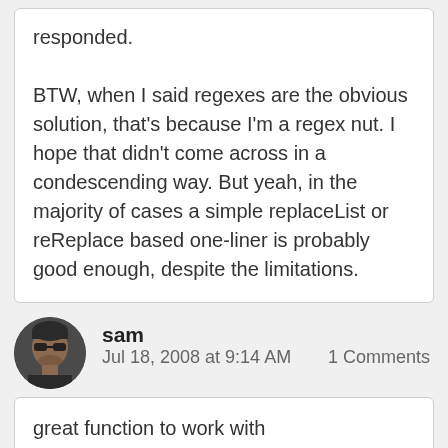responded.

BTW, when I said regexes are the obvious solution, that's because I'm a regex nut. I hope that didn't come across in a condescending way. But yeah, in the majority of cases a simple replaceList or reReplace based one-liner is probably good enough, despite the limitations.
sam
Jul 18, 2008 at 9:14 AM
1 Comments
great function to work with